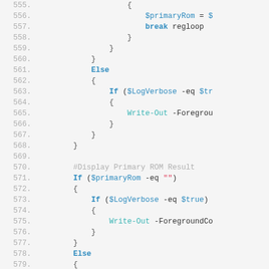PowerShell code listing, lines 555-582